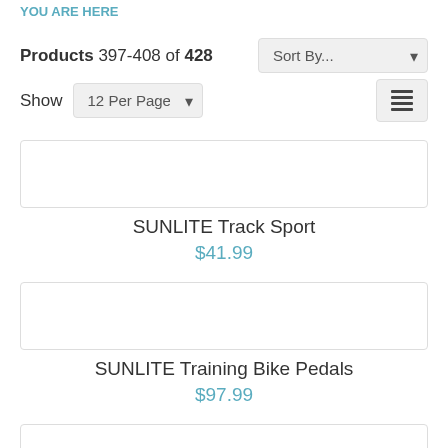YOU ARE HERE
Products 397-408 of 428
SUNLITE Track Sport $41.99
SUNLITE Training Bike Pedals $97.99
SUNLITE Urban Non-Slip